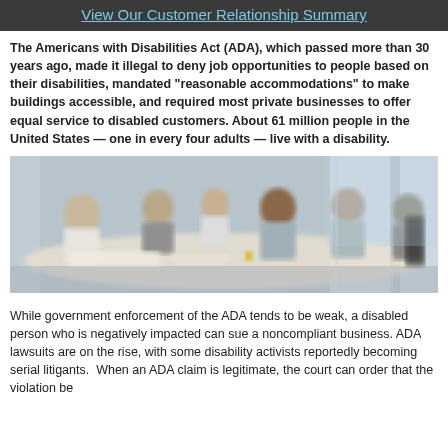View Our Customer Relationship Summary
The Americans with Disabilities Act (ADA), which passed more than 30 years ago, made it illegal to deny job opportunities to people based on their disabilities, mandated “reasonable accommodations” to make buildings accessible, and required most private businesses to offer equal service to disabled customers. About 61 million people in the United States — one in every four adults — live with a disability.
[Figure (photo): A group of people sitting around a conference table in a meeting room, appearing to be in a business discussion. The image is slightly blurred.]
While government enforcement of the ADA tends to be weak, a disabled person who is negatively impacted can sue a noncompliant business. ADA lawsuits are on the rise, with some disability activists reportedly becoming serial litigants.  When an ADA claim is legitimate, the court can order that the violation be